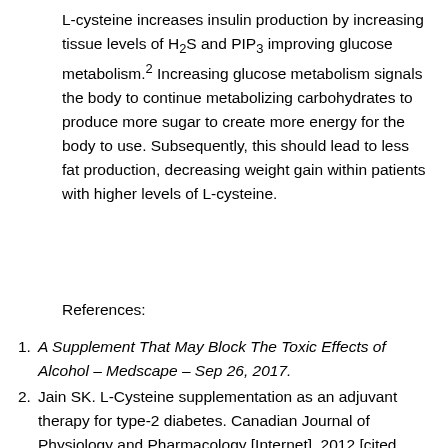L-cysteine increases insulin production by increasing tissue levels of H2S and PIP3 improving glucose metabolism.2 Increasing glucose metabolism signals the body to continue metabolizing carbohydrates to produce more sugar to create more energy for the body to use. Subsequently, this should lead to less fat production, decreasing weight gain within patients with higher levels of L-cysteine.
References:
A Supplement That May Block The Toxic Effects of Alcohol – Medscape – Sep 26, 2017.
Jain SK. L-Cysteine supplementation as an adjuvant therapy for type-2 diabetes. Canadian Journal of Physiology and Pharmacology [Internet]. 2012 [cited 2019Jul2];90(8):1061–4. Available from: https://web-b-